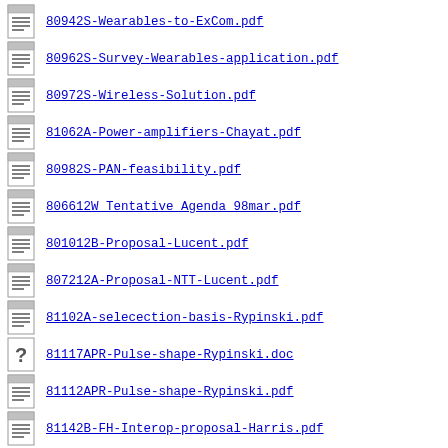80942S-Wearables-to-ExCom.pdf
80962S-Survey-Wearables-application.pdf
80972S-Wireless-Solution.pdf
81062A-Power-amplifiers-Chayat.pdf
80982S-PAN-feasibility.pdf
806612W Tentative Agenda 98mar.pdf
801012B-Proposal-Lucent.pdf
807212A-Proposal-NTT-Lucent.pdf
81102A-selecection-basis-Rypinski.pdf
81117APR-Pulse-shape-Rypinski.doc
81112APR-Pulse-shape-Rypinski.pdf
81142B-FH-Interop-proposal-Harris.pdf
81152B-SlidingDfe-for-equalizing.pdf
81192B-Proposal-Rhaytheo.pdf
81302W-Resolution-to-comments-on-802.11c.pdf
81312W-Resolution-to-comments-on-80211rev.pdf
8071a17A-Performance-NTT.ppt